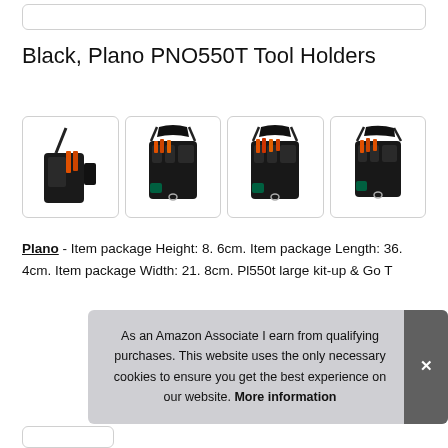Black, Plano PNO550T Tool Holders
[Figure (photo): Four product images of Plano PNO550T tool holder bags shown from different angles, with black body, orange and red tools, and shoulder straps]
Plano - Item package Height: 8. 6cm. Item package Length: 36. 4cm. Item package Width: 21. 8cm. Pl550t large kit-up & Go T
As an Amazon Associate I earn from qualifying purchases. This website uses the only necessary cookies to ensure you get the best experience on our website. More information